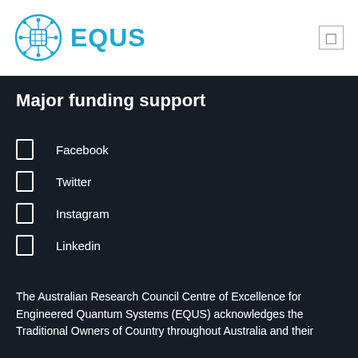EQUUS
Major funding support
Facebook
Twitter
Instagram
Linkedin
The Australian Research Council Centre of Excellence for Engineered Quantum Systems (EQUUS) acknowledges the Traditional Owners of Country throughout Australia and their